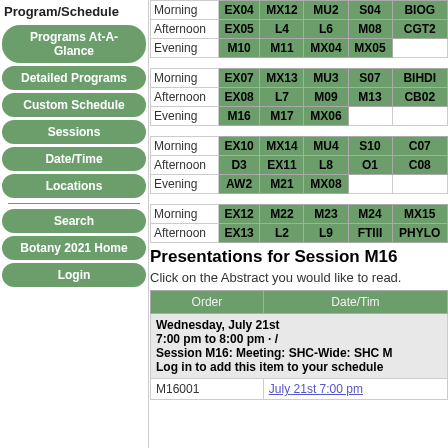Program/Schedule
Programs At-A-Glance
Detailed Programs
Custom Schedule
Sessions
Date/Time
Locations
Search
Botany 2021 Home
Login
| Morning | EX04 | MX12 | MU2 | S04 | BIOG |
| Afternoon | EX05 | L4 | L6 | M08 | CGT2 |
| Evening | M10 | M11 | MX04 | MX05 |  |
| Morning | EX07 | MX13 | MU3 | S07 | BIHDI |
| Afternoon | EX08 | L7 | M09 | M13 | CB02 |
| Evening | M16 | M17 | MX06 |  |  |
| Morning | EX10 | MX14 | MU4 | S10 | C07 |
| Afternoon | D3 | EX11 | L8 | O1 | C08 |
| Evening | AW2 | M21 | MX08 |  |  |
| Morning | EX12 | M22 | M23 | M24 | MX15 |
| Afternoon | EX13 | L2 | L9 | FTIII | PHYLO |
Presentations for Session M16
Click on the Abstract you would like to read.
| Order | Date/Time |
| --- | --- |
| Wednesday, July 21st
7:00 pm to 8:00 pm · /
Session M16: Meeting: SHC-Wide: SHC M
Log in to add this item to your schedule |  |
| M16001 | July 21st 7:00 pm |